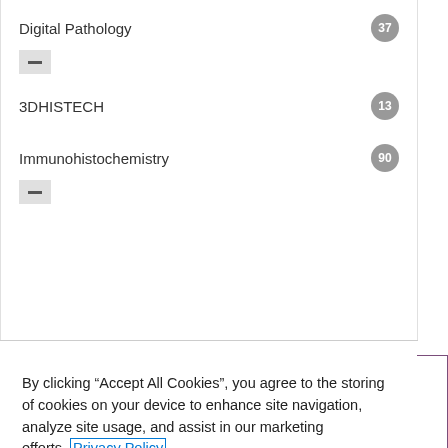Digital Pathology 37
3DHISTECH 13
Immunohistochemistry 90
By clicking “Accept All Cookies”, you agree to the storing of cookies on your device to enhance site navigation, analyze site usage, and assist in our marketing efforts. Privacy Policy
Accept All Cookies
Reject All Cookies
Choose Cookies Settings
Give Feedback